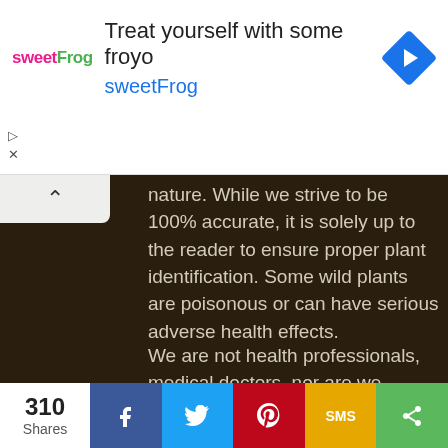[Figure (screenshot): Advertisement banner for sweetFrog frozen yogurt. Shows the sweetFrog logo on the left, headline 'Treat yourself with some froyo' and subline 'sweetFrog' in blue, with a blue diamond navigation icon on the right.]
nature. While we strive to be 100% accurate, it is solely up to the reader to ensure proper plant identification. Some wild plants are poisonous or can have serious adverse health effects.
We are not health professionals, medical doctors, nor are we nutritionists. It is up to the reader to verify nutritional information and health benefits with qualified professionals for all edible plants listed in this web site. Please click here for
310 Shares  [Facebook] [Twitter] [Pinterest] [SMS] [Share]